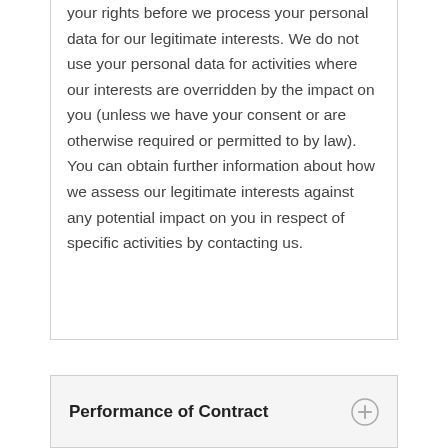your rights before we process your personal data for our legitimate interests. We do not use your personal data for activities where our interests are overridden by the impact on you (unless we have your consent or are otherwise required or permitted to by law). You can obtain further information about how we assess our legitimate interests against any potential impact on you in respect of specific activities by contacting us.
Performance of Contract